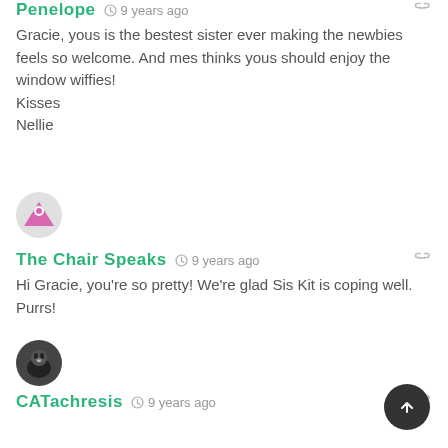Penelope · 9 years ago
Gracie, yous is the bestest sister ever making the newbies feels so welcome. And mes thinks yous should enjoy the window wiffies!
Kisses
Nellie
[Figure (illustration): Avatar with pink triangle face icon]
The Chair Speaks · 9 years ago
Hi Gracie, you're so pretty! We're glad Sis Kit is coping well. Purrs!
[Figure (photo): Avatar showing a black and white cat]
CATachresis · 9 years ago
Sister Saturday! You had me confuzzled there for a minute mol